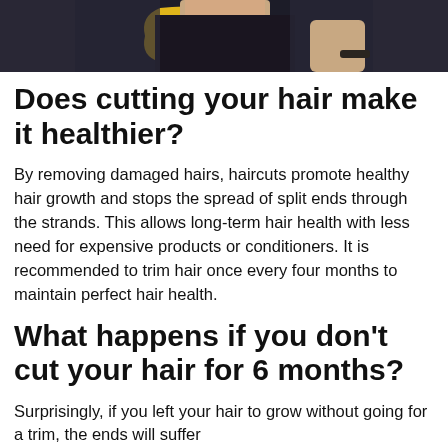[Figure (photo): Partial photo of a person wearing a dark shirt, cropped at top of page showing their torso and what appears to be a yellow graphic element]
Does cutting your hair make it healthier?
By removing damaged hairs, haircuts promote healthy hair growth and stops the spread of split ends through the strands. This allows long-term hair health with less need for expensive products or conditioners. It is recommended to trim hair once every four months to maintain perfect hair health.
What happens if you don’t cut your hair for 6 months?
Surprisingly, if you left your hair to grow without going for a trim, the ends will suffer